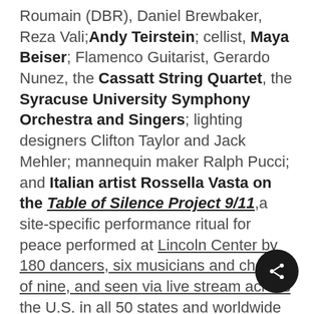Roumain (DBR), Daniel Brewbaker, Reza Vali;Andy Teirstein; cellist, Maya Beiser; Flamenco Guitarist, Gerardo Nunez, the Cassatt String Quartet, the Syracuse University Symphony Orchestra and Singers; lighting designers Clifton Taylor and Jack Mehler; mannequin maker Ralph Pucci; and Italian artist Rossella Vasta on the Table of Silence Project 9/11,a site-specific performance ritual for peace performed at Lincoln Center by 180 dancers, six musicians and chorus of nine, and seen via live stream across the U.S. in all 50 states and worldwide in 129 countries.  For uniting the dance community